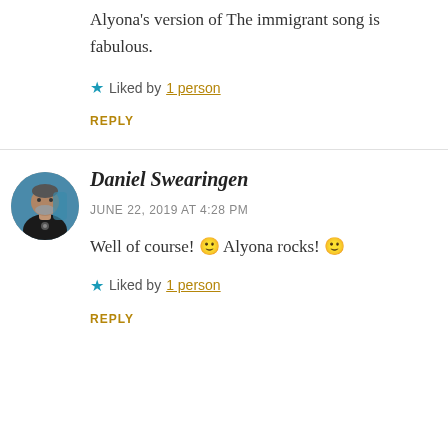Alyona's version of The immigrant song is fabulous.
★ Liked by 1 person
REPLY
Daniel Swearingen
JUNE 22, 2019 AT 4:28 PM
Well of course! 🙂 Alyona rocks! 🙂
★ Liked by 1 person
REPLY